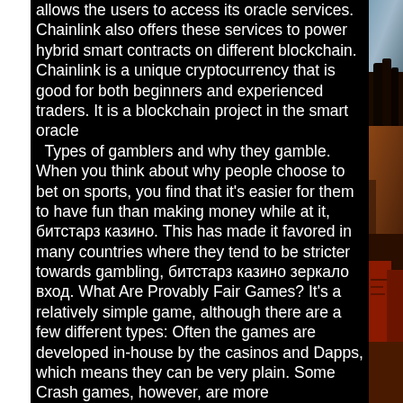allows the users to access its oracle services. Chainlink also offers these services to power hybrid smart contracts on different blockchain. Chainlink is a unique cryptocurrency that is good for both beginners and experienced traders. It is a blockchain project in the smart oracle
  Types of gamblers and why they gamble. When you think about why people choose to bet on sports, you find that it's easier for them to have fun than making money while at it, битстарз казино. This has made it favored in many countries where they tend to be stricter towards gambling, битстарз казино зеркало вход. What Are Provably Fair Games? It's a relatively simple game, although there are a few different types: Often the games are developed in-house by the casinos and Dapps, which means they can be very plain. Some Crash games, however, are more sophisticated, with higher-quality graphics, битстарз казино
[Figure (photo): Partial photo of a person visible on the right edge of the page, appears to be a man with dreadlocks holding something near his mouth, against a reddish-brown background.]